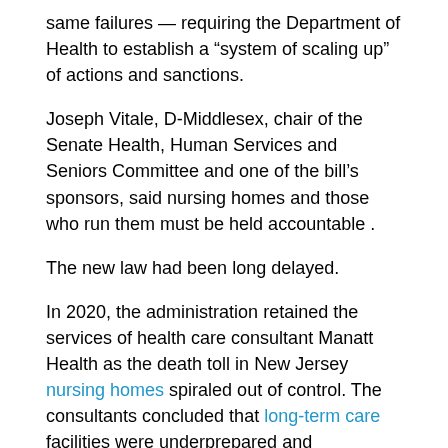same failures — requiring the Department of Health to establish a “system of scaling up” of actions and sanctions.
Joseph Vitale, D-Middlesex, chair of the Senate Health, Human Services and Seniors Committee and one of the bill’s sponsors, said nursing homes and those who run them must be held accountable .
The new law had been long delayed.
In 2020, the administration retained the services of health care consultant Manatt Health as the death toll in New Jersey nursing homes spiraled out of control. The consultants concluded that long-term care facilities were underprepared and understaffed to deal with the pandemic, and called for more rigorous state scrutiny.